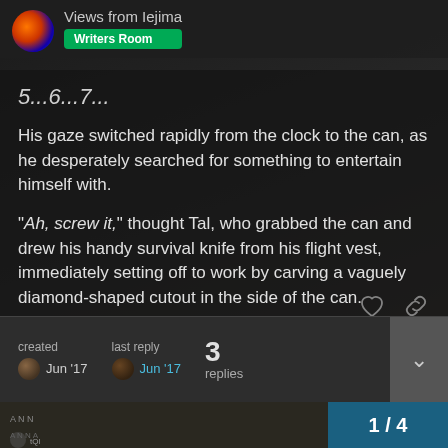Views from Iejima | Writers Room
5...6...7...
His gaze switched rapidly from the clock to the can, as he desperately searched for something to entertain himself with.
“Ah, screw it,” thought Tal, who grabbed the can and drew his handy survival knife from his flight vest, immediately setting off to work by carving a vaguely diamond-shaped cutout in the side of the can.
It was gonna be a long rotation.
created Jun '17  last reply Jun '17  3 replies  1 / 4